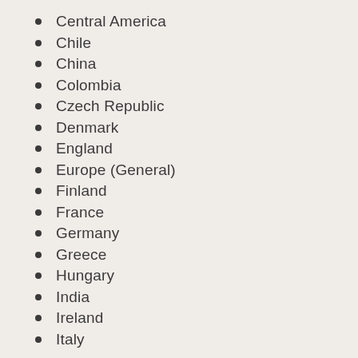Central America
Chile
China
Colombia
Czech Republic
Denmark
England
Europe (General)
Finland
France
Germany
Greece
Hungary
India
Ireland
Italy